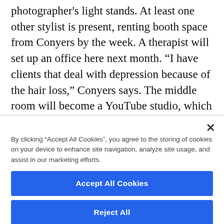photographer's light stands. At least one other stylist is present, renting booth space from Conyers by the week. A therapist will set up an office here next month. “I have clients that deal with depression because of the hair loss,” Conyers says. The middle room will become a YouTube studio, which will rent by the hour.
By clicking “Accept All Cookies”, you agree to the storing of cookies on your device to enhance site navigation, analyze site usage, and assist in our marketing efforts.
Accept All Cookies
Reject All
Cookies Settings